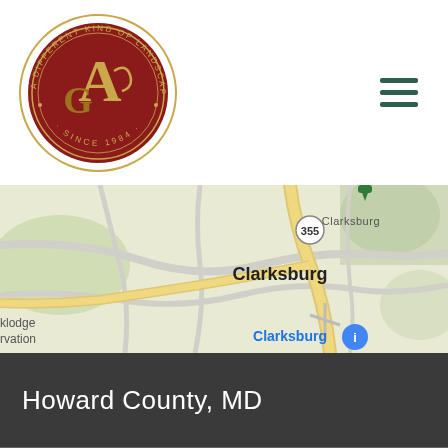[Figure (logo): Circular logo with red background and gold letter A over G, surrounded by text 'A DIFFERENT KIND OF LANDSCAPE CONTRACTOR · SINCE 1984 ·']
[Figure (other): Hamburger menu icon with three dark green horizontal bars]
[Figure (map): Google Maps screenshot showing Clarksburg area in Maryland with route 355 and a location pin labeled 'Clarksburg'. Labels include 'klodge' and 'rvation' on the left edge.]
Howard County, MD